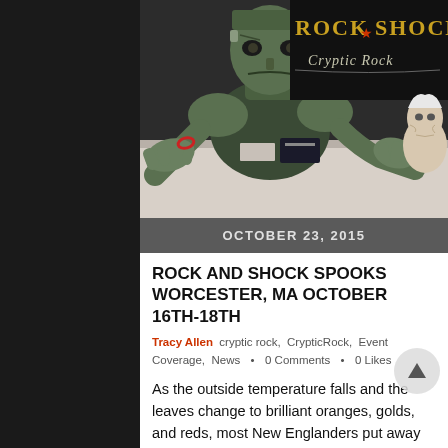[Figure (photo): Rock and Shock event photo showing Frankenstein monster prop/mask at a table, with 'ROCK SHOCK Cryptic Rock' text banner visible in the background, and an elderly person on the right side of the frame.]
OCTOBER 23, 2015
ROCK AND SHOCK SPOOKS WORCESTER, MA OCTOBER 16TH-18TH
Tracy Allen  cryptic rock,  CrypticRock,  Event Coverage,  News  •  0 Comments  •  0 Likes
As the outside temperature falls and the leaves change to brilliant oranges, golds, and reds, most New Englanders put away their bathing suits and bring out their heavy, cable knit sweaters. In Worcester, Massachusetts, this change from Summer to